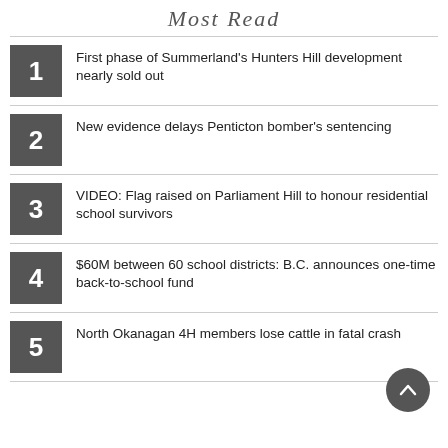Most Read
First phase of Summerland's Hunters Hill development nearly sold out
New evidence delays Penticton bomber's sentencing
VIDEO: Flag raised on Parliament Hill to honour residential school survivors
$60M between 60 school districts: B.C. announces one-time back-to-school fund
North Okanagan 4H members lose cattle in fatal crash